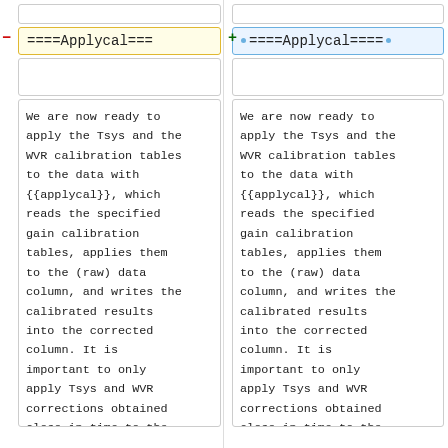====Applycal===
====Applycal====
We are now ready to apply the Tsys and the WVR calibration tables to the data with {{applycal}}, which reads the specified gain calibration tables, applies them to the (raw) data column, and writes the calibrated results into the corrected column. It is important to only apply Tsys and WVR corrections obtained close in time to the data being corrected
We are now ready to apply the Tsys and the WVR calibration tables to the data with {{applycal}}, which reads the specified gain calibration tables, applies them to the (raw) data column, and writes the calibrated results into the corrected column. It is important to only apply Tsys and WVR corrections obtained close in time to the data being corrected